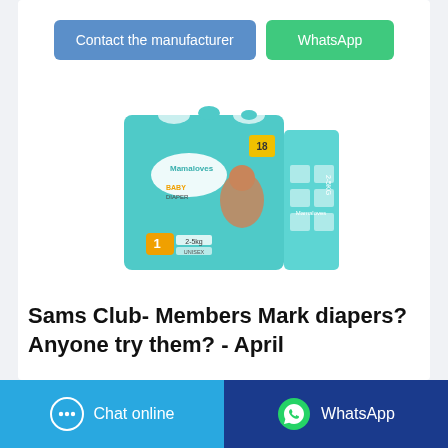[Figure (screenshot): Two buttons at top: 'Contact the manufacturer' (blue) and 'WhatsApp' (green)]
[Figure (photo): Mamaloves Baby Diaper product box, teal/turquoise color, Size 1, 2-5kg, Unisex, with image of baby on front]
Sams Club- Members Mark diapers? Anyone try them? - April
[Figure (screenshot): Bottom bar with 'Chat online' button (light blue) and 'WhatsApp' button (dark blue)]